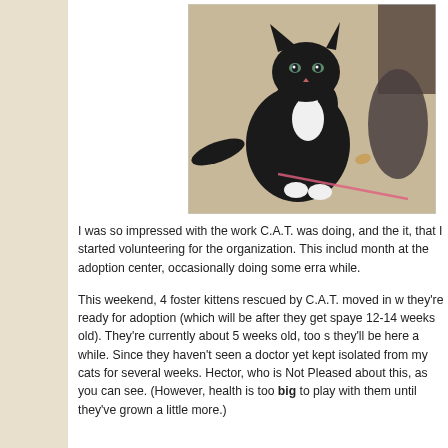[Figure (photo): A black and white tuxedo cat sitting on a beige carpet, looking at the camera. There is a pink string/ribbon and a small toy visible on the floor nearby.]
I was so impressed with the work C.A.T. was doing, and the impact it, that I started volunteering for the organization. This includes a shift a month at the adoption center, occasionally doing some errands every once in a while.
This weekend, 4 foster kittens rescued by C.A.T. moved in with us until they're ready for adoption (which will be after they get spayed/neutered at 12-14 weeks old). They're currently about 5 weeks old, too so they'll be here a while. Since they haven't seen a doctor yet, they need to be kept isolated from my cats for several weeks. Hector, who is Not Pleased about this, as you can see. (However, health is too big to play with them until they've grown a little more.)